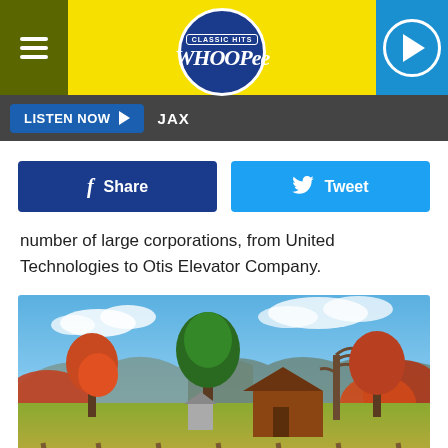[Figure (screenshot): Classic Hits Whoopee radio station logo on yellow background with hamburger menu and play button]
[Figure (screenshot): Listen Now button bar with JAX label on dark background]
[Figure (screenshot): Facebook Share and Twitter Tweet buttons]
number of large corporations, from United Technologies to Otis Elevator Company.
[Figure (photo): Autumn rural New England landscape with red and orange foliage, green trees, a rustic wooden barn, mountains in the background, blue sky with clouds, and a wooden fence in the foreground]